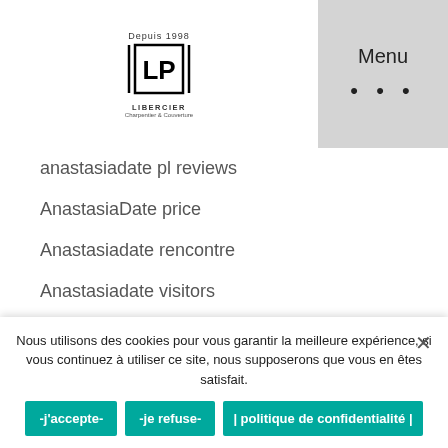[Figure (logo): LP Libercier logo with 'Depuis 1998' text above and 'LIBERCIER' below in a bracketed box]
Menu
anastasiadate pl reviews
AnastasiaDate price
Anastasiadate rencontre
Anastasiadate visitors
Anastasiadate web de citas
anastasiadate-inceleme Buraya bakabilirsin
anastasiadate-inceleme review
anastasiadate-inceleme visitors
Nous utilisons des cookies pour vous garantir la meilleure expérience, si vous continuez à utiliser ce site, nous supposerons que vous en êtes satisfait.
-j'accepte-  -je refuse-  | politique de confidentialité |